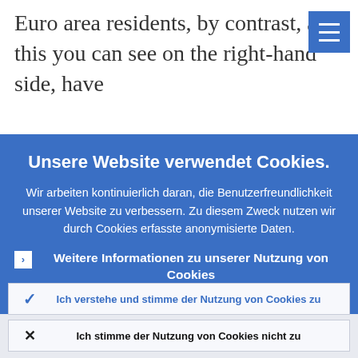Euro area residents, by contrast, and this you can see on the right-hand side, have
Unsere Website verwendet Cookies.
Wir arbeiten kontinuierlich daran, die Benutzerfreundlichkeit unserer Website zu verbessern. Zu diesem Zweck nutzen wir durch Cookies erfasste anonymisierte Daten.
Weitere Informationen zu unserer Nutzung von Cookies
Ich verstehe und stimme der Nutzung von Cookies zu
Ich stimme der Nutzung von Cookies nicht zu